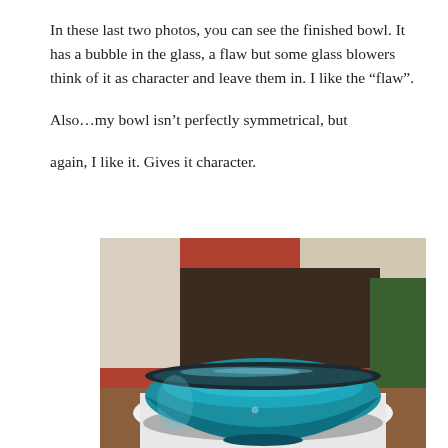In these last two photos, you can see the finished bowl. It has a bubble in the glass, a flaw but some glass blowers think of it as character and leave them in. I like the “flaw”.

Also…my bowl isn’t perfectly symmetrical, but

again, I like it. Gives it character.
[Figure (photo): A teal/turquoise blown glass bowl photographed on a white surface, with a dark room background featuring furniture and greenery. The bowl is wide and shallow with a dark rim, showing a glossy finish.]